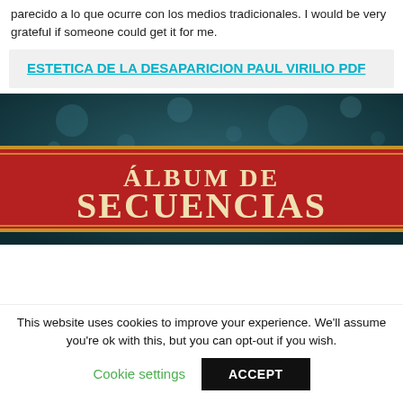parecido a lo que ocurre con los medios tradicionales. I would be very grateful if someone could get it for me.
ESTETICA DE LA DESAPARICION PAUL VIRILIO PDF
[Figure (illustration): Dark teal bokeh background with a red banner across the middle reading 'ÁLBUM DE SECUENCIAS' in large gold/cream serif text, with gold borders above and below the red band.]
This website uses cookies to improve your experience. We'll assume you're ok with this, but you can opt-out if you wish.
Cookie settings  ACCEPT